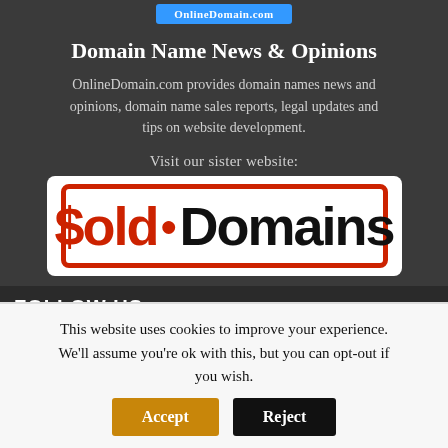OnlineDomain.com
Domain Name News & Opinions
OnlineDomain.com provides domain names news and opinions, domain name sales reports, legal updates and tips on website development.
Visit our sister website:
[Figure (logo): $old.Domains logo — red dollar sign, bold black text 'old' and 'Domains', red dot separator, white background with red stamp-style border]
FOLLOW US
This website uses cookies to improve your experience. We'll assume you're ok with this, but you can opt-out if you wish.